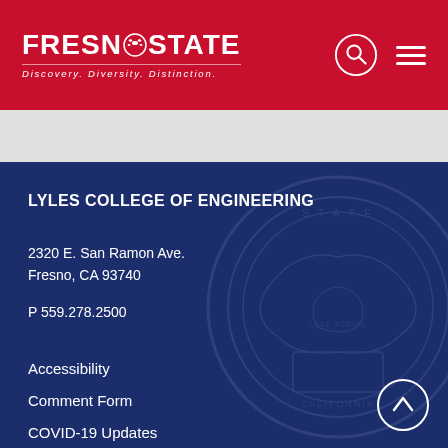FRESNO STATE - Discovery. Diversity. Distinction.
LYLES COLLEGE OF ENGINEERING
2320 E. San Ramon Ave.
Fresno, CA 93740
P 559.278.2500
Accessibility
Comment Form
COVID-19 Updates